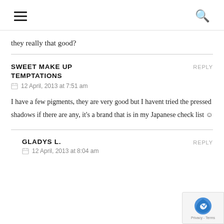[hamburger menu] [search icon]
they really that good?
SWEET MAKE UP TEMPTATIONS
12 April, 2013 at 7:51 am
I have a few pigments, they are very good but I havent tried the pressed shadows if there are any, it's a brand that is in my Japanese check list ☺
GLADYS L.
12 April, 2013 at 8:04 am